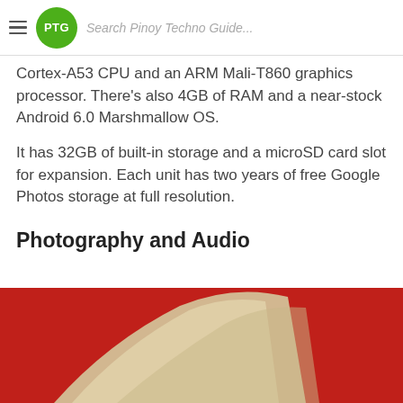PTG — Search Pinoy Techno Guide...
Cortex-A53 CPU and an ARM Mali-T860 graphics processor. There's also 4GB of RAM and a near-stock Android 6.0 Marshmallow OS.
It has 32GB of built-in storage and a microSD card slot for expansion. Each unit has two years of free Google Photos storage at full resolution.
Photography and Audio
[Figure (photo): Close-up of a red and gold/cream colored device (likely a smartphone or tablet back), showing curved edges against a red background.]